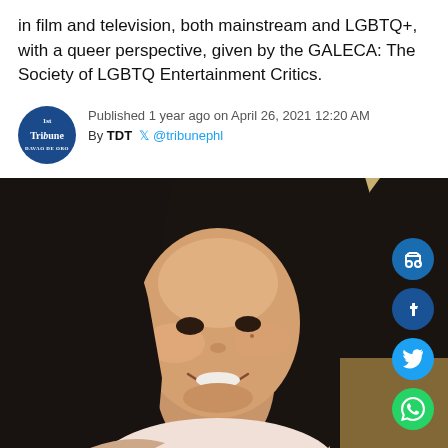in film and television, both mainstream and LGBTQ+, with a queer perspective, given by the GALECA: The Society of LGBTQ Entertainment Critics.
Published 1 year ago on April 26, 2021 12:20 AM
By TDT @tribunephl
[Figure (photo): Portrait photo of a smiling young Asian woman with long dark hair, wearing a light pink top, selfie-style photo with warm background.]